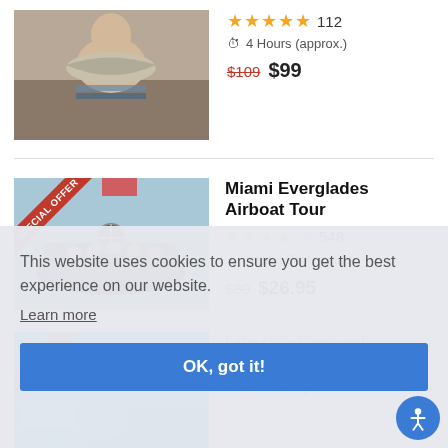[Figure (photo): Person holding a large fish, partial view, top listing card image]
★★★★★ 112
⏱ 4 Hours (approx.)
$109 $99
[Figure (photo): Group of people on an airboat in the Everglades with SPECIAL OFFER ribbon]
Miami Everglades Airboat Tour
★★★★☆ 548
⚡ Instant Confirmation
$30 $26.95
[Figure (photo): Partial view of a cyan/blue boat with SPECIAL OFFER ribbon, bottom listing card]
$1,300 $1,200
This website uses cookies to ensure you get the best experience on our website.
Learn more
OK, got it!